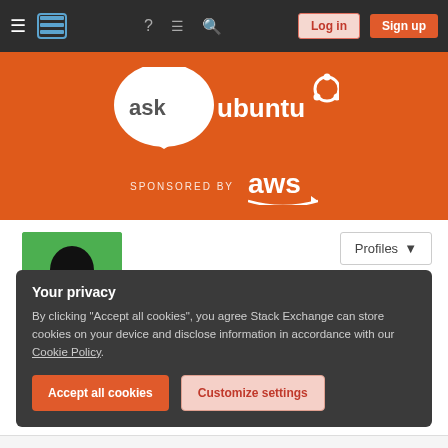Ask Ubuntu navigation bar with Log in and Sign up buttons
[Figure (logo): Ask Ubuntu logo with speech bubble containing 'ask ubuntu' text and Ubuntu circle logo, on orange background. SPONSORED BY aws logo below.]
[Figure (photo): User avatar - green background with black silhouette of a person]
Profiles ▾
Paŭlo Ebermann
Your privacy
By clicking "Accept all cookies", you agree Stack Exchange can store cookies on your device and disclose information in accordance with our Cookie Policy.
Accept all cookies
Customize settings